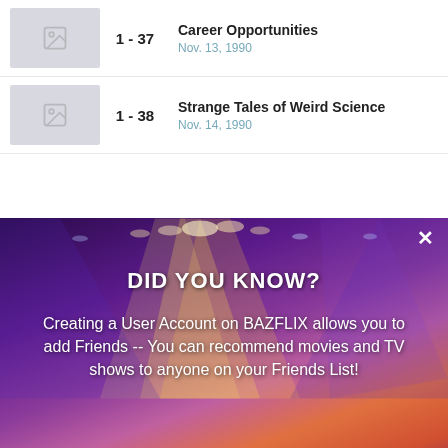1 - 37 | Career Opportunities | Nov. 13, 1990
1 - 38 | Strange Tales of Weird Science | Nov. 14, 1990
[Figure (screenshot): Modal popup overlay on a concert photo background with stage lights and crowd silhouette. Contains 'DID YOU KNOW?' header, body text about creating a BAZFLIX account, two buttons ('OH WOW, GIVE ME ONE!' in red and 'Yeah I know, it’s SO kewl' in gray), an X close button, and an AddThis badge.]
DID YOU KNOW?
Creating a User Account on BAZFLIX allows you to add Friends -- You can recommend movies and TV shows to anyone on your Friends List!
OH WOW, GIVE ME ONE!
Yeah I know, it’s SO kewl